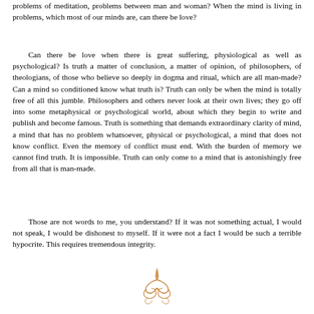problems of meditation, problems between man and woman? When the mind is living in problems, which most of our minds are, can there be love?
Can there be love when there is great suffering, physiological as well as psychological? Is truth a matter of conclusion, a matter of opinion, of philosophers, of theologians, of those who believe so deeply in dogma and ritual, which are all man-made? Can a mind so conditioned know what truth is? Truth can only be when the mind is totally free of all this jumble. Philosophers and others never look at their own lives; they go off into some metaphysical or psychological world, about which they begin to write and publish and become famous. Truth is something that demands extraordinary clarity of mind, a mind that has no problem whatsoever, physical or psychological, a mind that does not know conflict. Even the memory of conflict must end. With the burden of memory we cannot find truth. It is impossible. Truth can only come to a mind that is astonishingly free from all that is man-made.
Those are not words to me, you understand? If it was not something actual, I would not speak, I would be dishonest to myself. If it were not a fact I would be such a terrible hypocrite. This requires tremendous integrity.
[Figure (illustration): Decorative ornamental flourish in brown/gold color, resembling a stylized calligraphic knot or meditation symbol]